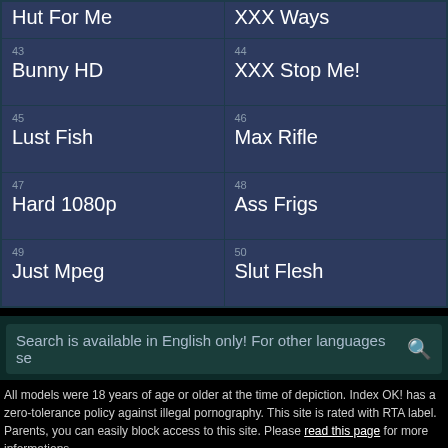| Hut For Me | XXX Ways |
| 43 Bunny HD | 44 XXX Stop Me! |
| 45 Lust Fish | 46 Max Rifle |
| 47 Hard 1080p | 48 Ass Frigs |
| 49 Just Mpeg | 50 Slut Flesh |
Search is available in English only! For other languages se
All models were 18 years of age or older at the time of depiction. Index OK! has a zero-tolerance policy against illegal pornography. This site is rated with RTA label. Parents, you can easily block access to this site. Please read this page for more informations.
Copyright © 2016-2020 indexok.com. All rights reserved.